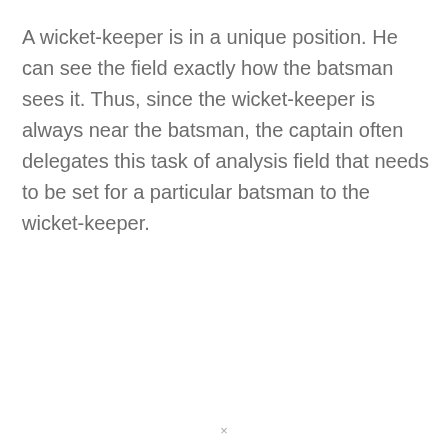A wicket-keeper is in a unique position. He can see the field exactly how the batsman sees it. Thus, since the wicket-keeper is always near the batsman, the captain often delegates this task of analysis field that needs to be set for a particular batsman to the wicket-keeper.